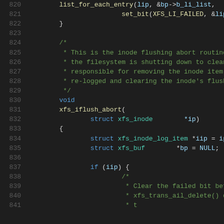[Figure (screenshot): Source code listing showing C code for XFS filesystem inode flush abort routine, lines 820-841, with syntax highlighting on dark background. Comments in green, keywords in blue, variables in light blue, function names in yellow.]